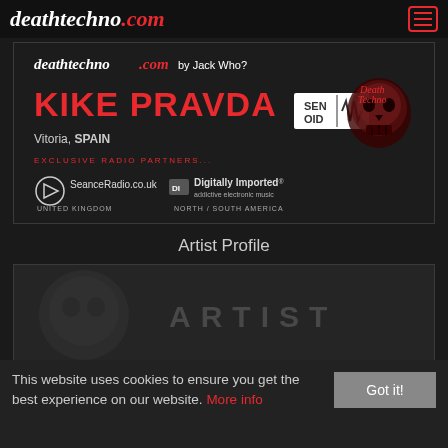deathtechno.com
[Figure (screenshot): Banner image for deathtechno.com featuring Kike Pravda artist profile. Shows text: deathtechno.com by Jack Who?, KIKE PRAVDA, SENOID logo, Vitoria SPAIN, EXCLUSIVE RADIO PARTNERS..., SeanceRadio.co.uk (UNITED KINGDOM), Digitally Imported addictive electronic music (NORTH/SOUTH AMERICA). Red skull Death Techno logo on right.]
Artist Profile
[Figure (screenshot): Dark artist profile card showing faint skull imagery and the word ARTIST in large spaced grey letters]
This website uses cookies to ensure you get the best experience on our website. More info